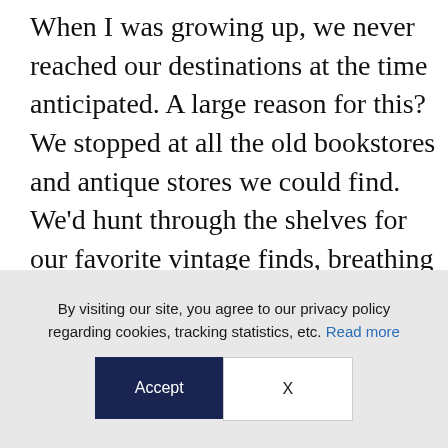When I was growing up, we never reached our destinations at the time anticipated. A large reason for this? We stopped at all the old bookstores and antique stores we could find. We'd hunt through the shelves for our favorite vintage finds, breathing deeply the beloved scent of yellowed paper, antique leather, and the joyful quest for out-of-print treasures.
(partial text cut off at bottom)
By visiting our site, you agree to our privacy policy regarding cookies, tracking statistics, etc. Read more